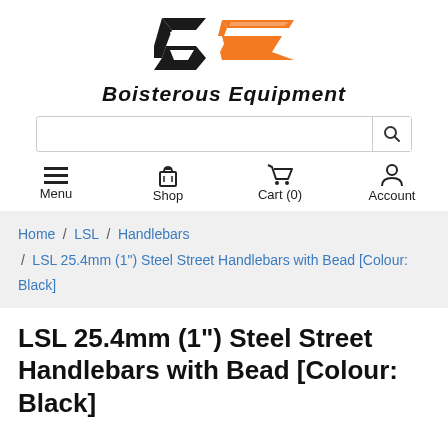[Figure (logo): Boisterous Equipment logo: stylized 'BE' letters with black and orange angular design above the brand name]
BOISTEROUS EQUIPMENT
[Figure (other): Search bar with magnifying glass icon]
Menu  Shop  Cart (0)  Account
Home / LSL / Handlebars / LSL 25.4mm (1") Steel Street Handlebars with Bead [Colour: Black]
LSL 25.4mm (1") Steel Street Handlebars with Bead [Colour: Black]